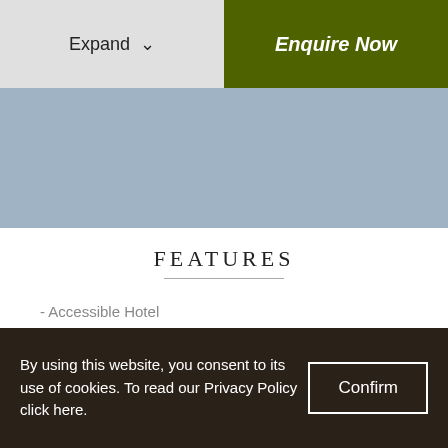Expand ∨
Enquire Now
[Figure (photo): Blue-grey image placeholder area]
FEATURES
- Accessible Hotel
- Air-Conditioning
By using this website, you consent to its use of cookies. To read our Privacy Policy click here.
Confirm